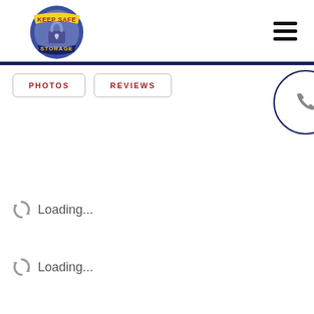[Figure (logo): Keep Safe Storage circular logo with blue circle, padlock, yellow banner reading KEEP SAFE and blue banner reading STORAGE]
[Figure (other): Hamburger menu icon (three horizontal lines) in top right corner]
PHOTOS
REVIEWS
[Figure (other): Phone/call button (circle with phone receiver icon), partially cut off on right edge]
Loading...
Loading...